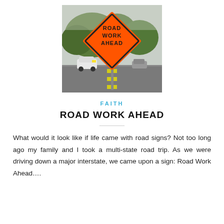[Figure (photo): A large orange diamond-shaped road construction sign reading 'ROAD WORK AHEAD' in bold black text, with trees in the background and a white car driving on a road.]
FAITH
ROAD WORK AHEAD
What would it look like if life came with road signs? Not too long ago my family and I took a multi-state road trip. As we were driving down a major interstate, we came upon a sign: Road Work Ahead….